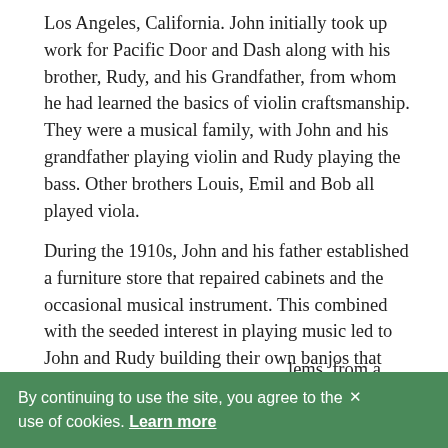Los Angeles, California. John initially took up work for Pacific Door and Dash along with his brother, Rudy, and his Grandfather, from whom he had learned the basics of violin craftsmanship. They were a musical family, with John and his grandfather playing violin and Rudy playing the bass. Other brothers Louis, Emil and Bob all played viola.
During the 1910s, John and his father established a furniture store that repaired cabinets and the occasional musical instrument. This combined with the seeded interest in playing music led to John and Rudy building their own banjos that they sold in the furniture shop. It was during these early tinkering years that John began to set himself apart as an inventor; filing for various [obscured] lems, from a [obscured] ent for a [obscured] a 1923 [obscured]
By continuing to use the site, you agree to the × use of cookies. Learn more